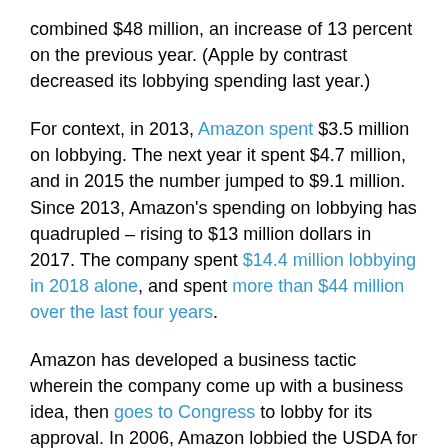combined $48 million, an increase of 13 percent on the previous year. (Apple by contrast decreased its lobbying spending last year.)
For context, in 2013, Amazon spent $3.5 million on lobbying. The next year it spent $4.7 million, and in 2015 the number jumped to $9.1 million. Since 2013, Amazon's spending on lobbying has quadrupled – rising to $13 million dollars in 2017. The company spent $14.4 million lobbying in 2018 alone, and spent more than $44 million over the last four years.
Amazon has developed a business tactic wherein the company come up with a business idea, then goes to Congress to lobby for its approval. In 2006, Amazon lobbied the USDA for the first time, ahead of launching Amazon Fresh grocery delivery in 2007. In 2012, it lobbied